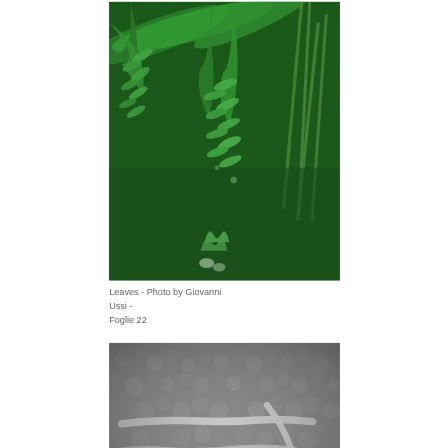[Figure (photo): Close-up photograph of dense green fern and leaf foliage, various shades of green, overlapping tropical-looking leaves and grass blades]
Leaves - Photo by Giovanni Ussi - Foglie 22
[Figure (photo): Electron microscope (SEM) grayscale image showing microscopic surface texture with elongated structures on a bumpy surface]